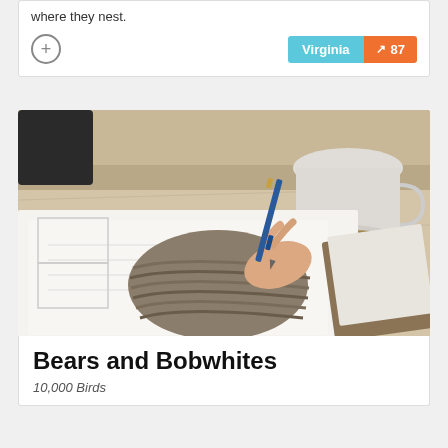where they nest.
Virginia  87
[Figure (photo): A person's hand holding a blue pen, writing on papers on a desk. A mug and notebook are visible in the background. The person is wearing a knit sweater.]
Bears and Bobwhites
10,000 Birds